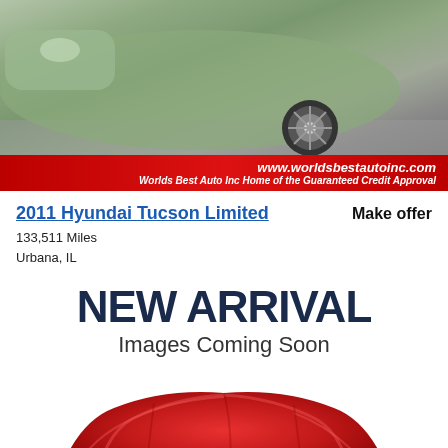[Figure (photo): Photo of a green Hyundai Tucson showing the front side and wheel area, parked on a gray surface]
[Figure (infographic): Red banner with website URL www.worldsbestautoinc.com and tagline 'Worlds Best Auto Inc Home of the Guaranteed Credit Approval']
2011 Hyundai Tucson Limited
133,511 Miles
Urbana, IL
Make offer
NEW ARRIVAL
Images Coming Soon
[Figure (photo): Car covered with a red drape/cloth on a white background, indicating new arrival with no photos yet available]